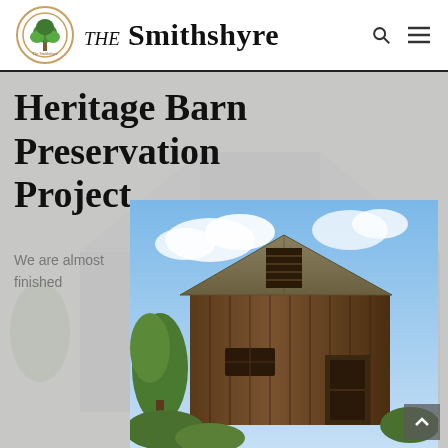THE Smithshyre
Heritage Barn Preservation Project
We are almost finished
[Figure (photo): Photograph of a rustic wooden heritage barn with a metal roof against a blue sky with clouds and green trees in the background]